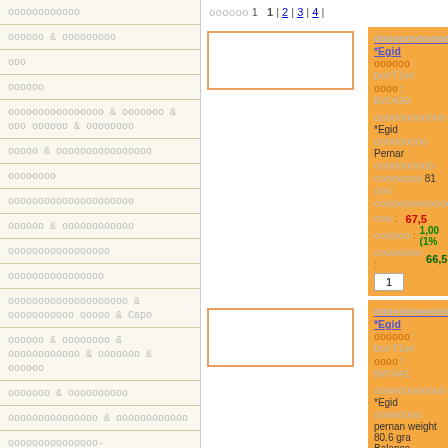oooooooooooo
oooooo & ooooooooo
ooo
oooooo
oooooooooooooooo & ooooooo & ooo oooooo & oooooooo
ooooo & oooooooooooooooo
oooooooo
ooooooooooooooooooooo
oooooo & oooooooooooo
ooooooooooooooooo
oooooooooooooooo
oooooooooooooooooooo & ooooooooooo ooooo & Capo
oooooo & oooooooo & oooooooooooo & ooooooo & oooooo
ooooooo & oooooooooo
ooooooooooooooo & oooooooooooo
ooooooooooooooo-ooooooooooooooo
oooooooooooooo-oooooooooooooooo
ooooooo
oooooo 1  1 | 2 | 3 | 4 |
oooooooooooo *Egid
oooooo: Dorfler
oooo: BVC439
oooooooooooo *Egid
ooooooooo Pernar
oooooooooo
oooooooo 81 ooo
oooooooooooooooooooo
ooo : 67,5
oooooo : 1,00 (1%
oooooooo : 66,5
[1]
oooooooooooo *Egid
oooooo: Dorfler
oooo: BVC441
oooooooooooo *Egid
oooooooo pernan weight 80.6 gra Balance
oooooooooo
ooo : 67,5
[1]